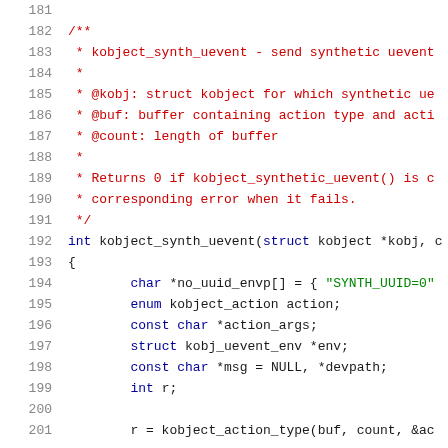Source code listing lines 181-201, kobject_synth_uevent function with documentation comment
181
182 /**
183  * kobject_synth_uevent - send synthetic uevent
184  *
185  * @kobj: struct kobject for which synthetic uev
186  * @buf: buffer containing action type and acti
187  * @count: length of buffer
188  *
189  * Returns 0 if kobject_synthetic_uevent() is c
190  * corresponding error when it fails.
191  */
192 int kobject_synth_uevent(struct kobject *kobj, c
193 {
194         char *no_uuid_envp[] = { "SYNTH_UUID=0"
195         enum kobject_action action;
196         const char *action_args;
197         struct kobj_uevent_env *env;
198         const char *msg = NULL, *devpath;
199         int r;
200
201         r = kobject_action_type(buf, count, &ac